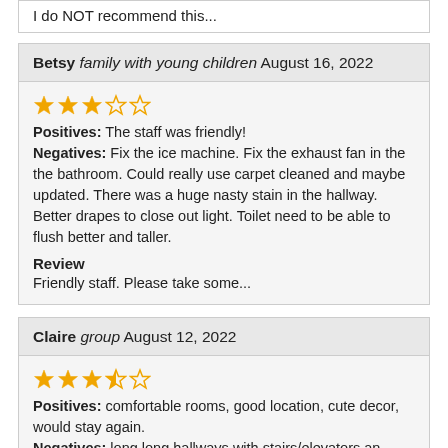I do NOT recommend this...
Betsy family with young children August 16, 2022
[Figure (other): 3 out of 5 stars rating]
Positives: The staff was friendly! Negatives: Fix the ice machine. Fix the exhaust fan in the the bathroom. Could really use carpet cleaned and maybe updated. There was a huge nasty stain in the hallway. Better drapes to close out light. Toilet need to be able to flush better and taller.
Review
Friendly staff. Please take some...
Claire group August 12, 2022
[Figure (other): 3.5 out of 5 stars rating]
Positives: comfortable rooms, good location, cute decor, would stay again. Negatives: long long hallways with stairs&#47;elevators an strange nonconvenient locations. Not centralized to the lobby even, no